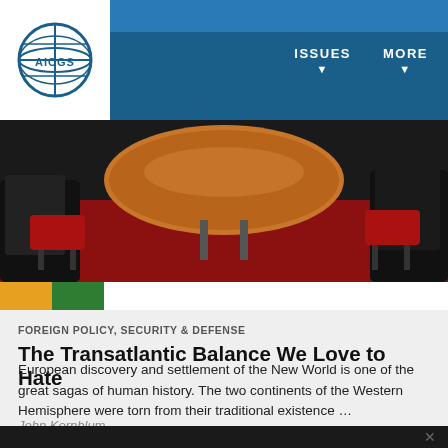AICGS — ISSUES | MORE
[Figure (photo): Overhead view of a round wooden table with people seated around it in a meeting room setting with red chairs]
FOREIGN POLICY, SECURITY & DEFENSE
The Transatlantic Balance We Love to Hate
European discovery and settlement of the New World is one of the great sagas of human history. The two continents of the Western Hemisphere were torn from their traditional existence …
John Kornblum